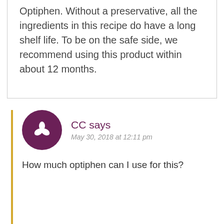Optiphen. Without a preservative, all the ingredients in this recipe do have a long shelf life. To be on the safe side, we recommend using this product within about 12 months.
CC says
May 30, 2018 at 12:11 pm

How much optiphen can I use for this?